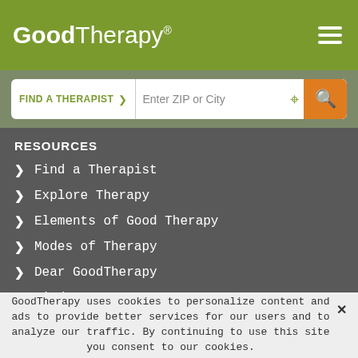GoodTherapy®
[Figure (screenshot): Search bar with FIND A THERAPIST dropdown and Enter ZIP or City input with location icon and orange search button]
RESOURCES
Find a Therapist
Explore Therapy
Elements of Good Therapy
Modes of Therapy
Dear GoodTherapy
Find a Treatment Center
What Is Therapy?
Types of Therapy
GoodTherapy uses cookies to personalize content and ads to provide better services for our users and to analyze our traffic. By continuing to use this site you consent to our cookies.